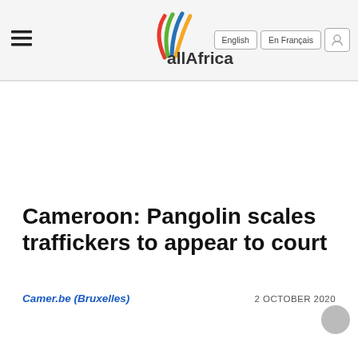allAfrica — English | En Français
Cameroon: Pangolin scales traffickers to appear to court
Camer.be (Bruxelles)   2 OCTOBER 2020